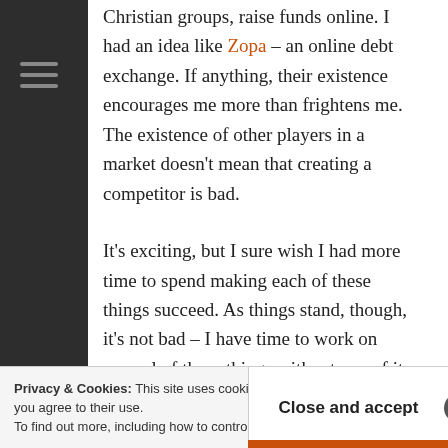Christian groups, raise funds online. I had an idea like Zopa – an online debt exchange. If anything, their existence encourages me more than frightens me. The existence of other players in a market doesn't mean that creating a competitor is bad.
It's exciting, but I sure wish I had more time to spend making each of these things succeed. As things stand, though, it's not bad – I have time to work on several of these things without any of it distracting from my day job. Not too shabby. More details to come as each opportunity takes shape.
Privacy & Cookies: This site uses cookies. By continuing to use this website, you agree to their use. To find out more, including how to control cookies, see here: Close and accept